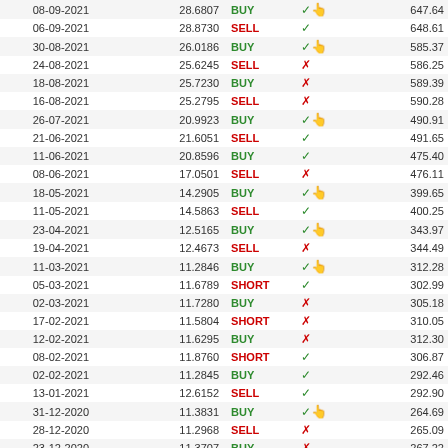| Date | Price | Type | Signal | Value |
| --- | --- | --- | --- | --- |
| 08-09-2021 | 28.6807 | BUY | ✓👆 | 647.64 |
| 06-09-2021 | 28.8730 | SELL | ✓ | 648.61 |
| 30-08-2021 | 26.0186 | BUY | ✓👆 | 585.37 |
| 24-08-2021 | 25.6245 | SELL | ✗ | 586.25 |
| 18-08-2021 | 25.7230 | BUY | ✗ | 589.39 |
| 16-08-2021 | 25.2795 | SELL | ✗ | 590.28 |
| 26-07-2021 | 20.9923 | BUY | ✓👆 | 490.91 |
| 21-06-2021 | 21.6051 | SELL | ✓ | 491.65 |
| 11-06-2021 | 20.8596 | BUY | ✓ | 475.40 |
| 08-06-2021 | 17.0501 | SELL | ✗ | 476.11 |
| 18-05-2021 | 14.2905 | BUY | ✓👆 | 399.65 |
| 11-05-2021 | 14.5863 | SELL | ✓ | 400.25 |
| 23-04-2021 | 12.5165 | BUY | ✓👆 | 343.97 |
| 19-04-2021 | 12.4673 | SELL | ✗ | 344.49 |
| 11-03-2021 | 11.2846 | BUY | ✓👆 | 312.28 |
| 05-03-2021 | 11.6789 | SHORT | ✓ | 302.99 |
| 02-03-2021 | 11.7280 | BUY | ✗ | 305.18 |
| 17-02-2021 | 11.5804 | SHORT | ✗ | 310.05 |
| 12-02-2021 | 11.6295 | BUY | ✗ | 312.30 |
| 08-02-2021 | 11.8760 | SHORT | ✓ | 306.87 |
| 02-02-2021 | 11.2845 | BUY | ✓ | 292.46 |
| 13-01-2021 | 12.6152 | SELL | ✓ | 292.90 |
| 31-12-2020 | 11.3831 | BUY | ✓👆 | 264.69 |
| 28-12-2020 | 11.2968 | SELL | ✗ | 265.09 |
| 23-12-2020 | 11.3707 | BUY | ✗ | 267.22 |
| 21-12-2020 | 11.2716 | SELL | ✗ | 267.62 |
| 04-11-2020 | 4.6617 | BUY | ✓👆 | 110.85 |
| 14-10-2020 | 5.1643 | SELL | ✓ | 111.02 |
| 28-09-2020 | 4.8200 | BUY | ✓ | 103.77 |
| 22-09-2020 | 4.9119 | SELL | ✓ | 103.93 |
| 04-09-2020 | 4.6321 | BUY | ✓ | 98.16 |